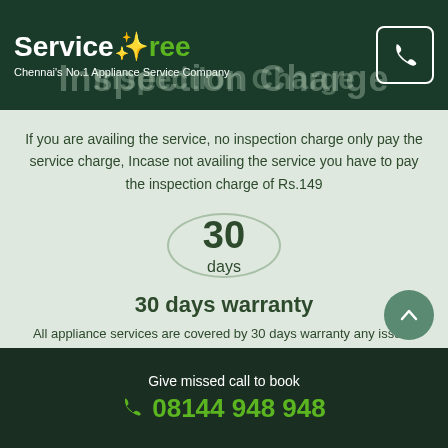ServiceTree – Chennai's No.1 Appliance Service Company
Inspection Charge
If you are availing the service, no inspection charge only pay the service charge, Incase not availing the service you have to pay the inspection charge of Rs.149
[Figure (infographic): Circle badge showing '30 days']
30 days warranty
All appliance services are covered by 30 days warranty any issues with in our warranty period please reach us immediately
Give missed call to book 08144 948 948